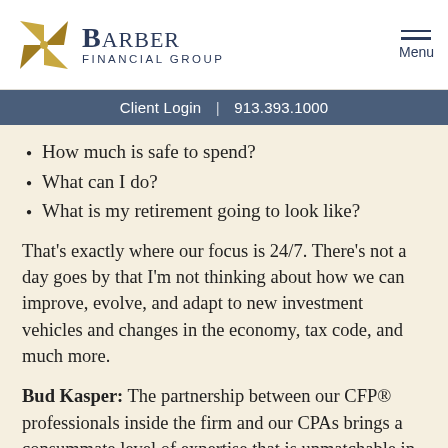Barber Financial Group | Menu
Client Login | 913.393.1000
How much is safe to spend?
What can I do?
What is my retirement going to look like?
That's exactly where our focus is 24/7. There's not a day goes by that I'm not thinking about how we can improve, evolve, and adapt to new investment vehicles and changes in the economy, tax code, and much more.
Bud Kasper: The partnership between our CFP® professionals inside the firm and our CPAs brings a consummate level of expertise that is unmatchable in most formats of retirement